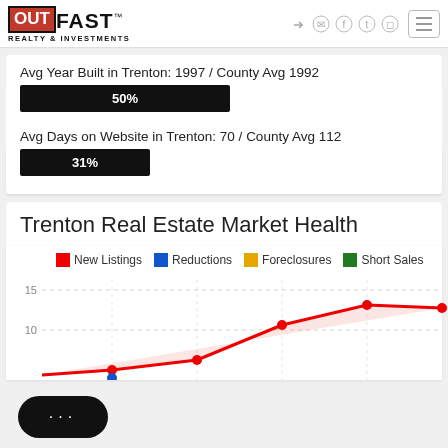[Figure (logo): OutFast Realty & Investments logo with red box around OUT and hamburger menu icon on right]
Avg Year Built in Trenton: 1997 / County Avg 1992
[Figure (bar-chart): Avg Year Built bar]
Avg Days on Website in Trenton: 70 / County Avg 112
[Figure (bar-chart): Avg Days on Website bar]
Trenton Real Estate Market Health
[Figure (line-chart): Line chart showing New Listings (red), Reductions (blue), Foreclosures (gold), Short Sales (green) over time. Y-axis shows values 10 and 15. Red line trends upward reaching ~14 at right. Chart is partially visible, cut off at bottom.]